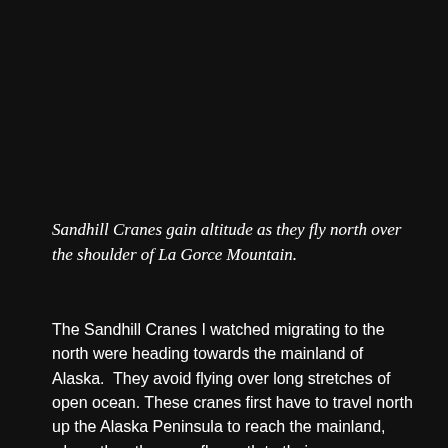Sandhill Cranes gain altitude as they fly north over the shoulder of La Gorce Mountain.
The Sandhill Cranes I watched migrating to the north were heading towards the mainland of Alaska.  They avoid flying over long stretches of open ocean. These cranes first have to travel north up the Alaska Peninsula to reach the mainland, where they then can fly south to their